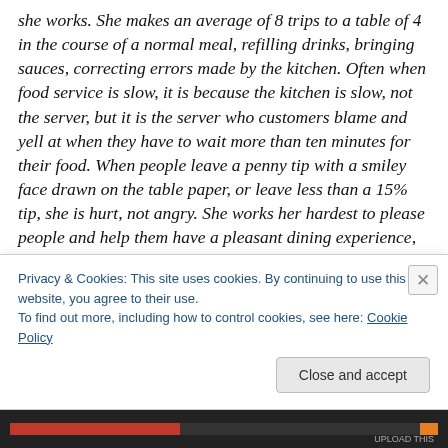she works. She makes an average of 8 trips to a table of 4 in the course of a normal meal, refilling drinks, bringing sauces, correcting errors made by the kitchen. Often when food service is slow, it is because the kitchen is slow, not the server, but it is the server who customers blame and yell at when they have to wait more than ten minutes for their food. When people leave a penny tip with a smiley face drawn on the table paper, or leave less than a 15% tip, she is hurt, not angry. She works her hardest to please people and help them have a pleasant dining experience, and some people recognize and reward that. Others seem
Privacy & Cookies: This site uses cookies. By continuing to use this website, you agree to their use.
To find out more, including how to control cookies, see here: Cookie Policy
Close and accept